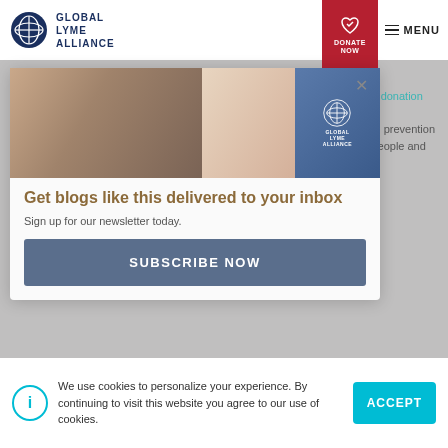[Figure (logo): Global Lyme Alliance logo with circular emblem and text]
[Figure (other): Donate Now button with heart icon, red background]
MENU
diseases. Your donation will support our awareness and prevention programs for people and pets.
[Figure (photo): Newsletter signup modal with image strip showing legs and medical imagery, GLA logo overlay]
Get blogs like this delivered to your inbox
Sign up for our newsletter today.
SUBSCRIBE NOW
GLA
Admin at GLA
We use cookies to personalize your experience. By continuing to visit this website you agree to our use of cookies.
ACCEPT